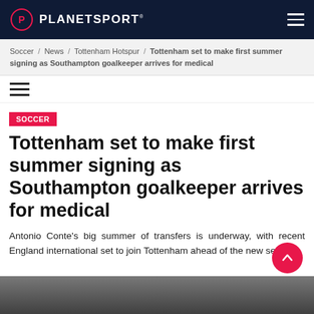PLANETSPORT
Soccer / News / Tottenham Hotspur / Tottenham set to make first summer signing as Southampton goalkeeper arrives for medical
Soccer
Tottenham set to make first summer signing as Southampton goalkeeper arrives for medical
Antonio Conte's big summer of transfers is underway, with recent England international set to join Tottenham ahead of the new season.
[Figure (photo): Photo of a person, partially visible at the bottom of the page]